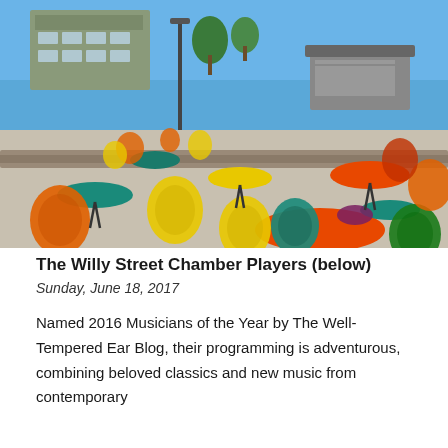[Figure (photo): Outdoor waterfront plaza with colorful metal bistro chairs and round tables in orange, yellow, teal, and red. A performance stage canopy is visible in the background along with a blue lake and sky. Trees and a building are in the upper left.]
The Willy Street Chamber Players (below)
Sunday, June 18, 2017
Named 2016 Musicians of the Year by The Well-Tempered Ear Blog, their programming is adventurous, combining beloved classics and new music from contemporary